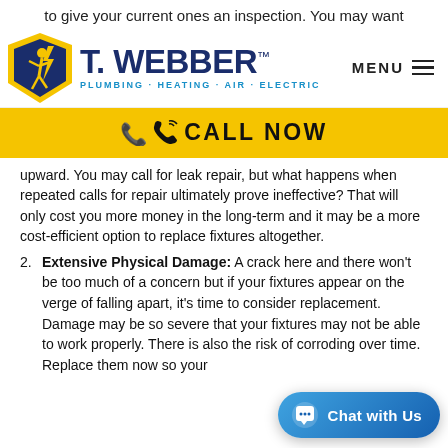to give your current ones an inspection. You may want
[Figure (logo): T. Webber Plumbing Heating Air Electric logo with shield mascot and MENU hamburger button]
[Figure (other): Yellow CALL NOW bar with phone icon]
upward. You may call for leak repair, but what happens when repeated calls for repair ultimately prove ineffective? That will only cost you more money in the long-term and it may be a more cost-efficient option to replace fixtures altogether.
2. Extensive Physical Damage: A crack here and there won't be too much of a concern but if your fixtures appear on the verge of falling apart, it's time to consider replacement. Damage may be so severe that your fixtures may not be able to work properly. There is also the risk of corroding over time. Replace them now so your
[Figure (other): Blue chat bubble button with speech icon and text 'Chat with Us']